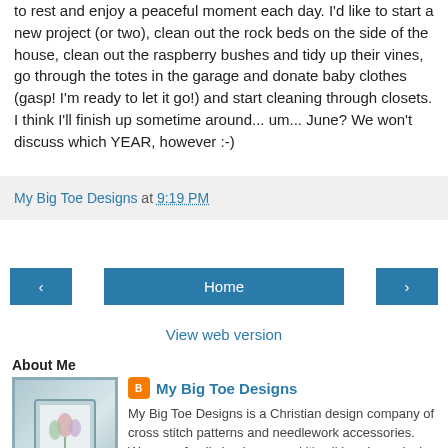to rest and enjoy a peaceful moment each day. I'd like to start a new project (or two), clean out the rock beds on the side of the house, clean out the raspberry bushes and tidy up their vines, go through the totes in the garage and donate baby clothes (gasp! I'm ready to let it go!) and start cleaning through closets. I think I'll finish up sometime around... um... June? We won't discuss which YEAR, however :-)
My Big Toe Designs at 9:19 PM
‹ | Home | ›
View web version
About Me
[Figure (photo): Cross stitch artwork in a dark frame showing flowers and text]
My Big Toe Designs
My Big Toe Designs is a Christian design company of cross stitch patterns and needlework accessories. We are a family business, and it's all hands on deck